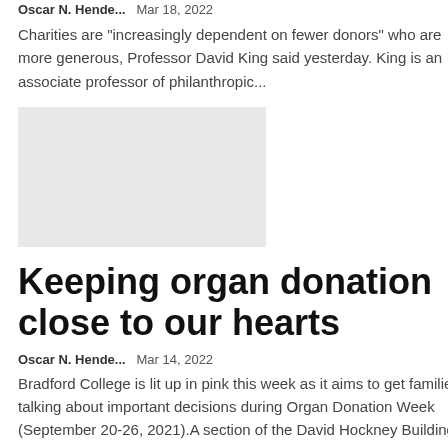Oscar N. Hende...    Mar 18, 2022
Charities are "increasingly dependent on fewer donors" who are more generous, Professor David King said yesterday. King is an associate professor of philanthropic...
[Figure (photo): Gray placeholder image for article photo]
Keeping organ donation close to our hearts
Oscar N. Hende...    Mar 14, 2022
Bradford College is lit up in pink this week as it aims to get families talking about important decisions during Organ Donation Week (September 20-26, 2021).A section of the David Hockney Building